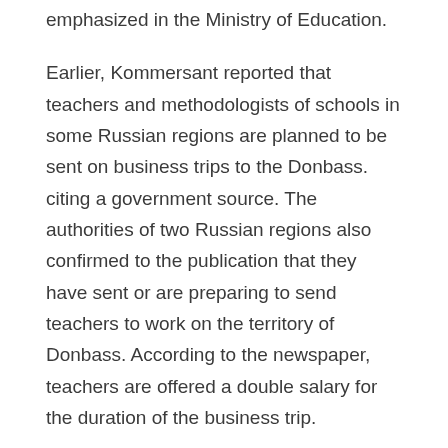emphasized in the Ministry of Education.
Earlier, Kommersant reported that teachers and methodologists of schools in some Russian regions are planned to be sent on business trips to the Donbass. citing a government source. The authorities of two Russian regions also confirmed to the publication that they have sent or are preparing to send teachers to work on the territory of Donbass. According to the newspaper, teachers are offered a double salary for the duration of the business trip.
The Ministry of Education of Primorye informed the publication that employees of the regional department had already left for the Donbass “for methodological